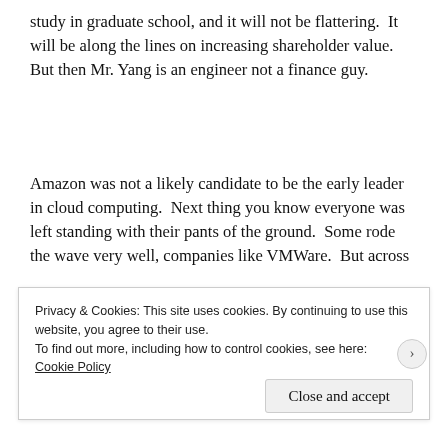study in graduate school, and it will not be flattering.  It will be along the lines on increasing shareholder value.  But then Mr. Yang is an engineer not a finance guy.
Amazon was not a likely candidate to be the early leader in cloud computing.  Next thing you know everyone was left standing with their pants of the ground.  Some rode the wave very well, companies like VMWare.  But across
Privacy & Cookies: This site uses cookies. By continuing to use this website, you agree to their use.
To find out more, including how to control cookies, see here:
Cookie Policy
Close and accept